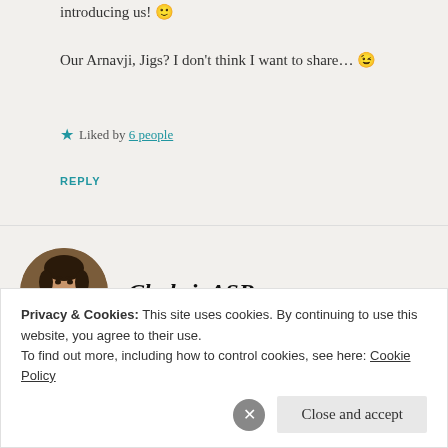introducing us! 🙂
Our Arnavji, Jigs? I don't think I want to share... 😉
★ Liked by 6 people
REPLY
[Figure (photo): Circular avatar photo of a young man with hands clasped near his face]
Chokri_ASR
Privacy & Cookies: This site uses cookies. By continuing to use this website, you agree to their use.
To find out more, including how to control cookies, see here: Cookie Policy
Close and accept